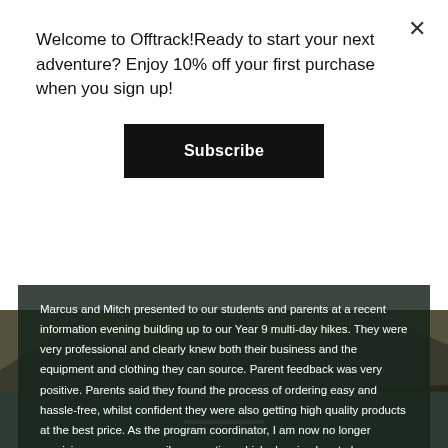Welcome to Offtrack!Ready to start your next adventure? Enjoy 10% off your first purchase when you sign up!
Subscribe
Marcus and Mitch presented to our students and parents at a recent information evening building up to our Year 9 multi-day hikes. They were very professional and clearly knew both their business and the equipment and clothing they can source. Parent feedback was very positive. Parents said they found the process of ordering easy and hassle-free, whilst confident they were also getting high quality products at the best price. As the program coordinator, I am now no longer receiving numerous emails requesting which sleeping bag to buy or where the best place to buy hiking boots is.
General Camping
[Figure (photo): Hikers on a mountain trail with rocky terrain and dry grass, dark overlay background]